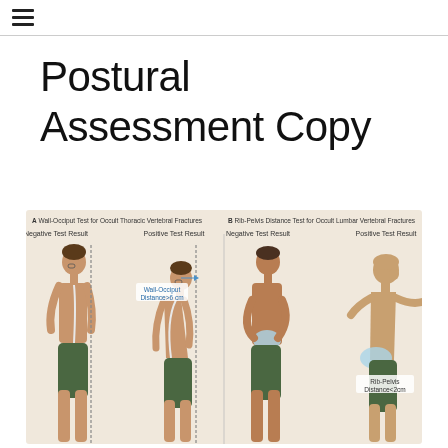☰
Postural Assessment Copy
[Figure (illustration): Medical illustration showing four figures side by side demonstrating postural assessment tests. Section A: Wall-Occiput Test for Occult Thoracic Vertebral Fractures — Negative Test Result (man standing straight against wall, spine shown) and Positive Test Result (man leaning forward, Wall-Occiput Distance >6 cm labeled). Section B: Rib-Pelvis Distance Test for Occult Lumbar Vertebral Fractures — Negative Test Result (man standing with hands on abdomen) and Positive Test Result (man leaning with hands extended, Rib-Pelvis Distance <2cm labeled). All figures wear green shorts on a beige background.]